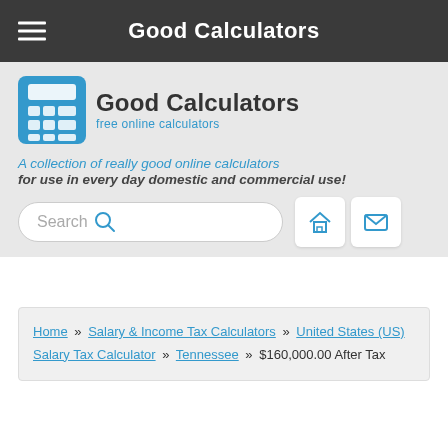Good Calculators
[Figure (logo): Good Calculators logo with blue calculator icon and text 'Good Calculators free online calculators']
A collection of really good online calculators for use in every day domestic and commercial use!
Search
Home » Salary & Income Tax Calculators » United States (US) Salary Tax Calculator » Tennessee » $160,000.00 After Tax